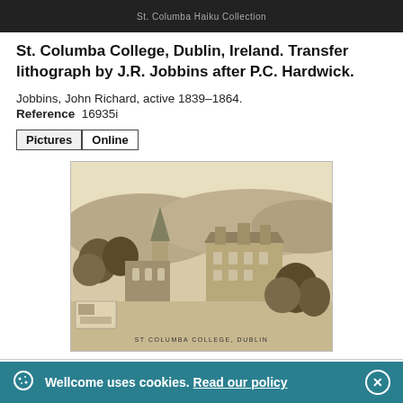[Figure (screenshot): Top dark image bar showing a partial image with a caption text in the center]
St. Columba College, Dublin, Ireland. Transfer lithograph by J.R. Jobbins after P.C. Hardwick.
Jobbins, John Richard, active 1839–1864.
Reference  16935i
Pictures  Online
[Figure (illustration): Lithograph illustration of St. Columba College, Dublin showing a gothic style college building with a spire set against hills and trees, aerial perspective view. Caption at bottom reads ST COLUMBA COLLEGE, DUBLIN.]
Grammar School, Ewelme, Oxfordshire: elevations
Wellcome uses cookies. Read our policy